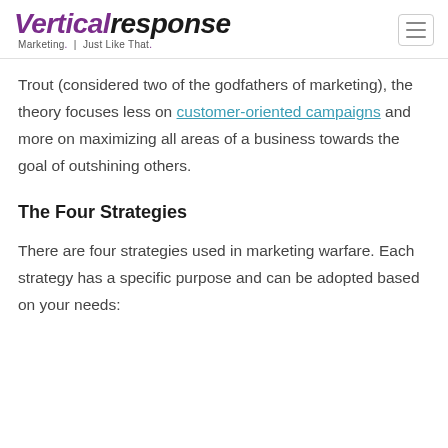VerticalResponse Marketing. Just Like That.
Trout (considered two of the godfathers of marketing), the theory focuses less on customer-oriented campaigns and more on maximizing all areas of a business towards the goal of outshining others.
The Four Strategies
There are four strategies used in marketing warfare. Each strategy has a specific purpose and can be adopted based on your needs: